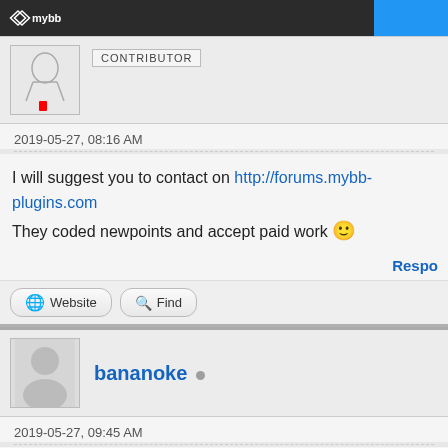MyBB forum header bar with logo and blue button
[Figure (screenshot): User avatar thumbnail with sketch drawing, contributor badge]
2019-05-27, 08:16 AM
I will suggest you to contact on http://forums.mybb-plugins.com They coded newpoints and accept paid work 🙂
Respo
Website   Find
bananoke
2019-05-27, 09:45 AM
It can be done by anyone who knows php, is responsible for cr easiest.